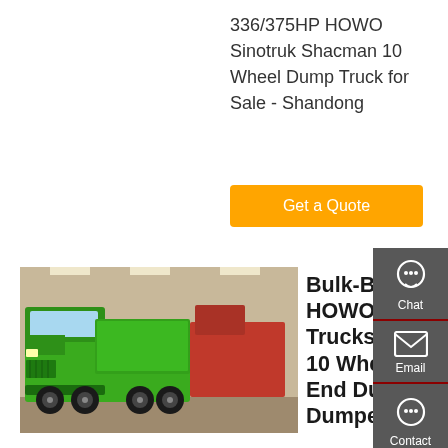336/375HP HOWO Sinotruk Shacman 10 Wheel Dump Truck for Sale - Shandong
Get a Quote
[Figure (photo): Green HOWO Sinotruk dump truck on display in an exhibition hall]
Bulk-Buy Sinotruk HOWO Used Dump Trucks 16-20cbm 6X4 10 Wheels 371HP End Dump Truck Dumper ...
Bulkbuy Sinotruk HOWO Used Dump Trucks 16-20cbm 6X4 10 Wheels 371HP End Dump Truck